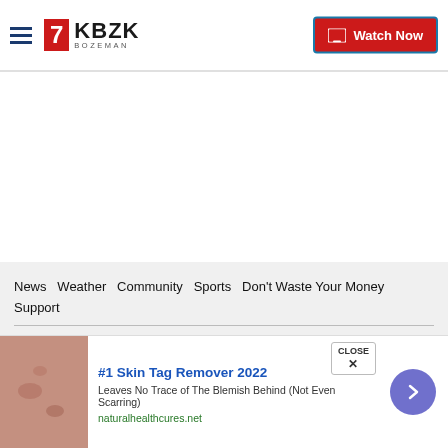KBZK Bozeman | Watch Now
News  Weather  Community  Sports  Don't Waste Your Money  Support
Sitemap  Privacy Policy  Privacy Center  Journalism Ethics Guidelines  Terms of Use  EEO  Careers  FCC Public File  FCC Application  Public File Contact Us
[Figure (advertisement): Ad for #1 Skin Tag Remover 2022 with skin image, text 'Leaves No Trace of The Blemish Behind (Not Even Scarring)', URL naturalhealthcures.net]